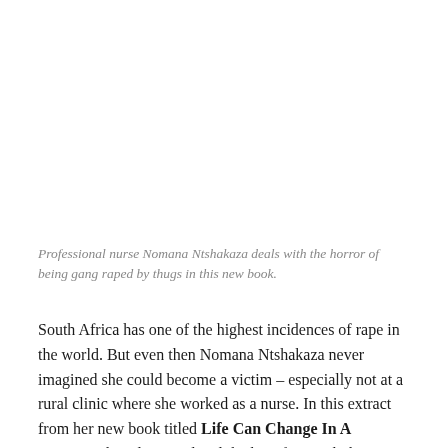Professional nurse Nomana Ntshakaza deals with the horror of being gang raped by thugs in this new book.
South Africa has one of the highest incidences of rape in the world. But even then Nomana Ntshakaza never imagined she could become a victim – especially not at a rural clinic where she worked as a nurse. In this extract from her new book titled Life Can Change In A Moment she relates in detail the horrific attack that changed her life.